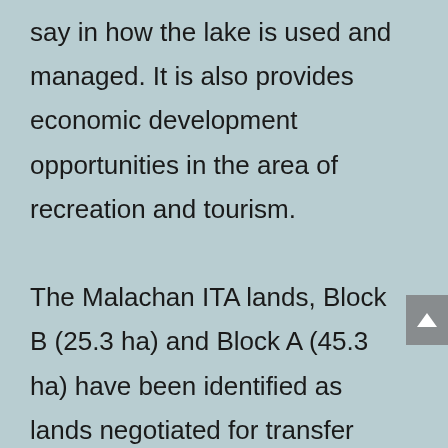say in how the lake is used and managed. It is also provides economic development opportunities in the area of recreation and tourism.

The Malachan ITA lands, Block B (25.3 ha) and Block A (45.3 ha) have been identified as lands negotiated for transfer when the AIP is signed, and when Final agreement is signed. The